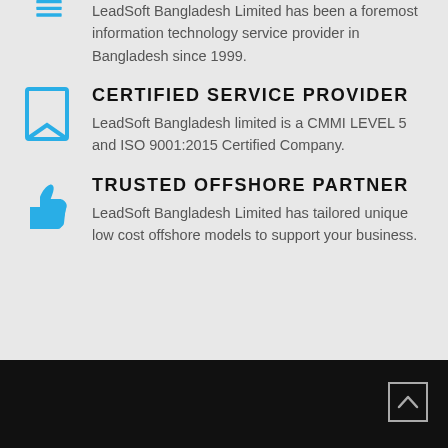LeadSoft Bangladesh Limited has been a foremost information technology service provider in Bangladesh since 1999.
CERTIFIED SERVICE PROVIDER
LeadSoft Bangladesh limited is a CMMI LEVEL 5 and ISO 9001:2015 Certified Company.
TRUSTED OFFSHORE PARTNER
LeadSoft Bangladesh Limited has tailored unique low cost offshore models to support your business.